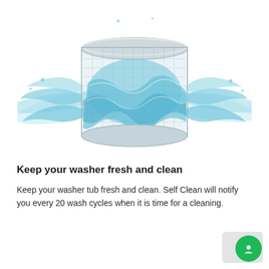[Figure (photo): A washing machine drum tub shown transparent/see-through with water splashing dynamically around it, showing the interior drum and water swirling inside, on a white background.]
Keep your washer fresh and clean
Keep your washer tub fresh and clean. Self Clean will notify you every 20 wash cycles when it is time for a cleaning.